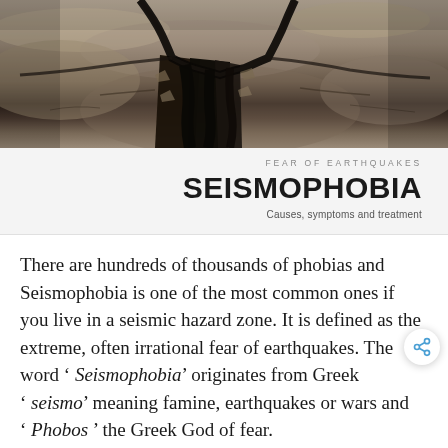[Figure (photo): Close-up photograph of cracked dry earth or pavement with a deep fissure running through it, suggesting earthquake damage. Dark tones in the crack, sandy/dusty texture surrounding it.]
FEAR OF EARTHQUAKES
SEISMOPHOBIA
Causes, symptoms and treatment
There are hundreds of thousands of phobias and Seismophobia is one of the most common ones if you live in a seismic hazard zone. It is defined as the extreme, often irrational fear of earthquakes. The word ‘Seismophobia’ originates from Greek ‘seismo’ meaning famine, earthquakes or wars and ‘Phobos’ the Greek God of fear.